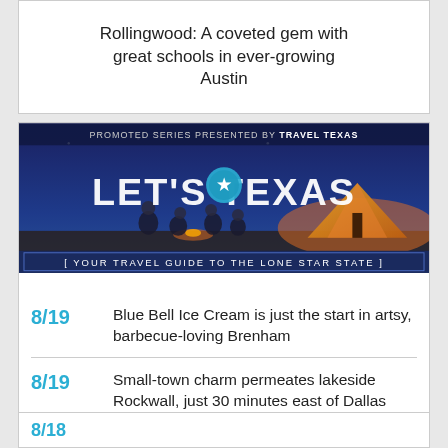Rollingwood: A coveted gem with great schools in ever-growing Austin
[Figure (illustration): Travel Texas promotional banner: 'PROMOTED SERIES PRESENTED BY TRAVEL TEXAS' / 'LET'S TEXAS' with Texas star logo, people around campfire at beach/dusk, tent at right / 'YOUR TRAVEL GUIDE TO THE LONE STAR STATE']
8/19 Blue Bell Ice Cream is just the start in artsy, barbecue-loving Brenham
8/19 Small-town charm permeates lakeside Rockwall, just 30 minutes east of Dallas
8/18 Festivals and food overflow in music-friendly McKinney
8/18 (partial, bottom card)